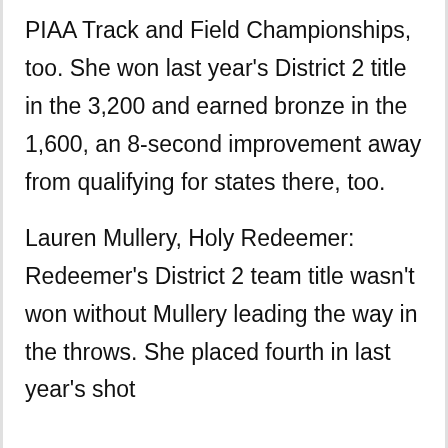PIAA Track and Field Championships, too. She won last year's District 2 title in the 3,200 and earned bronze in the 1,600, an 8-second improvement away from qualifying for states there, too.
Lauren Mullery, Holy Redeemer: Redeemer's District 2 team title wasn't won without Mullery leading the way in the throws. She placed fourth in last year's shot